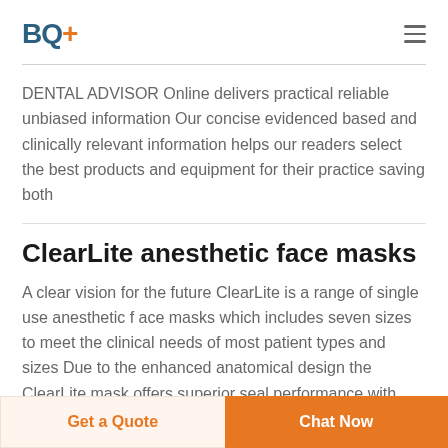BQ+
DENTAL ADVISOR Online delivers practical reliable unbiased information Our concise evidenced based and clinically relevant information helps our readers select the best products and equipment for their practice saving both
ClearLite anesthetic face masks
A clear vision for the future ClearLite is a range of single use anesthetic f ace masks which includes seven sizes to meet the clinical needs of most patient types and sizes Due to the enhanced anatomical design the ClearLite mask offers superior seal performance with minimum pressure
Get a Quote  Chat Now